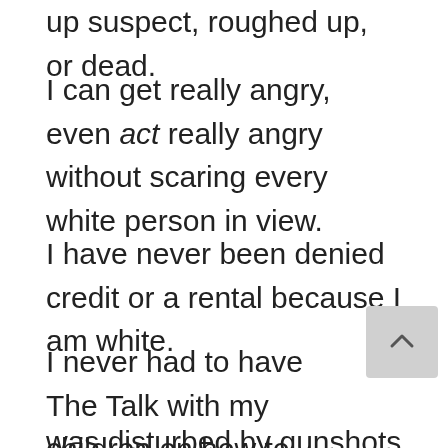up suspect, roughed up, or dead.
I can get really angry, even act really angry without scaring every white person in view.
I have never been denied credit or a rental because I am white.
I never had to have The Talk with my children on how to stay physically safe because of their color. Nor did they go to school in the morning  after their sle
was disturbed by gunshots or their